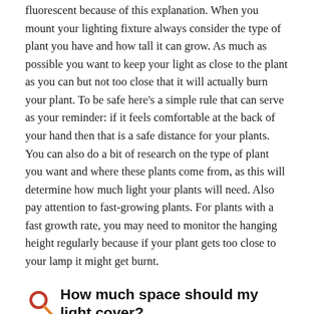fluorescent because of this explanation. When you mount your lighting fixture always consider the type of plant you have and how tall it can grow. As much as possible you want to keep your light as close to the plant as you can but not too close that it will actually burn your plant. To be safe here's a simple rule that can serve as your reminder: if it feels comfortable at the back of your hand then that is a safe distance for your plants. You can also do a bit of research on the type of plant you want and where these plants come from, as this will determine how much light your plants will need. Also pay attention to fast-growing plants. For plants with a fast growth rate, you may need to monitor the hanging height regularly because if your plant gets too close to your lamp it might get burnt.
How much space should my light cover?
To answer this question the size of your garden will be the determining factor for the wattage you need. Let's say that your plants don't get sunlight then you will need around one thousand watt HID light to cover a seven by seven feet growing